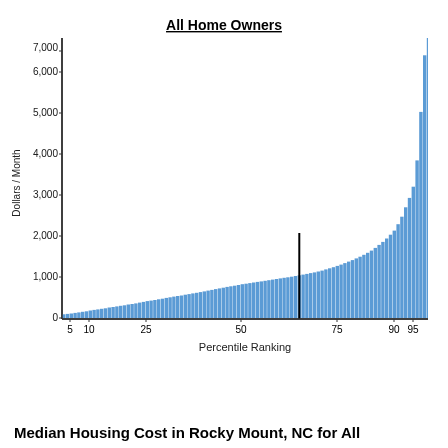[Figure (continuous-plot): Bar chart showing housing cost distribution by percentile ranking for all home owners in Rocky Mount, NC. Bars rise exponentially from left (~$100 at 3rd percentile) to right (~$7,500+ at 99th percentile). A vertical black line marks approximately the 65th percentile at ~$950.]
Median Housing Cost in Rocky Mount, NC for All